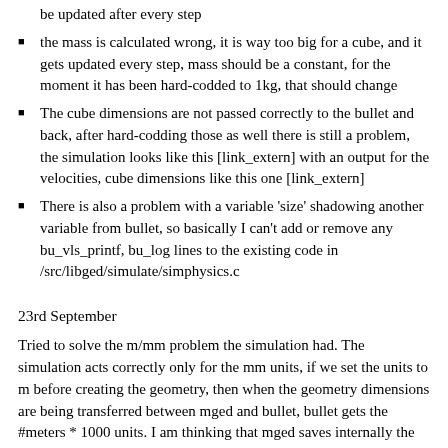be updated after every step
the mass is calculated wrong, it is way too big for a cube, and it gets updated every step, mass should be a constant, for the moment it has been hard-codded to 1kg, that should change
The cube dimensions are not passed correctly to the bullet and back, after hard-codding those as well there is still a problem, the simulation looks like this [link_extern] with an output for the velocities, cube dimensions like this one [link_extern]
There is also a problem with a variable 'size' shadowing another variable from bullet, so basically I can't add or remove any bu_vls_printf, bu_log lines to the existing code in /src/libged/simulate/simphysics.c
23rd September
Tried to solve the m/mm problem the simulation had. The simulation acts correctly only for the mm units, if we set the units to m before creating the geometry, then when the geometry dimensions are being transferred between mged and bullet, bullet gets the #meters * 1000 units. I am thinking that mged saves internally the units in mm, even though we are working in meters, so we(Abhi, last year participant on this project and I) came up with scaling the units when they are transferred to bullet with 0.001, but then the mm geometry should be big enough so that the bullet tolerance of 0.04m can't affect the